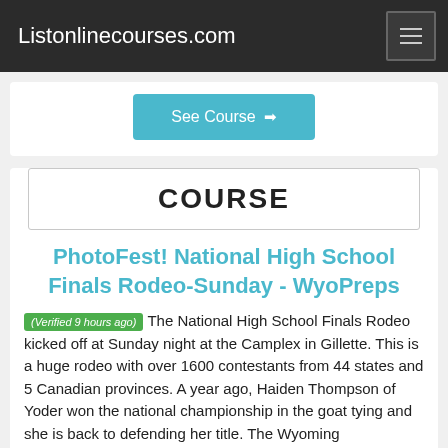Listonlinecourses.com
See Course →
COURSE
PhotoFest! National High School Finals Rodeo-Sunday - WyoPreps
(Verified 9 hours ago) The National High School Finals Rodeo kicked off at Sunday night at the Camplex in Gillette. This is a huge rodeo with over 1600 contestants from 44 states and 5 Canadian provinces. A year ago, Haiden Thompson of Yoder won the national championship in the goat tying and she is back to defending her title. The Wyoming